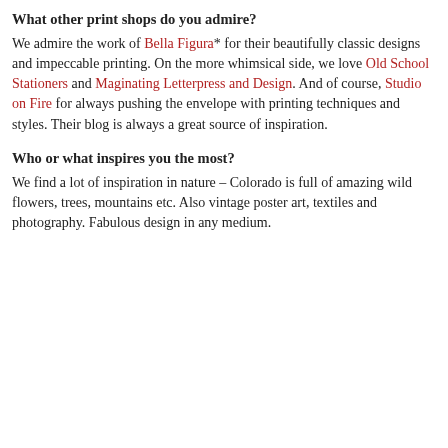What other print shops do you admire?
We admire the work of Bella Figura* for their beautifully classic designs and impeccable printing. On the more whimsical side, we love Old School Stationers and Maginating Letterpress and Design. And of course, Studio on Fire for always pushing the envelope with printing techniques and styles. Their blog is always a great source of inspiration.
Who or what inspires you the most?
We find a lot of inspiration in nature – Colorado is full of amazing wild flowers, trees, mountains etc. Also vintage poster art, textiles and photography. Fabulous design in any medium.